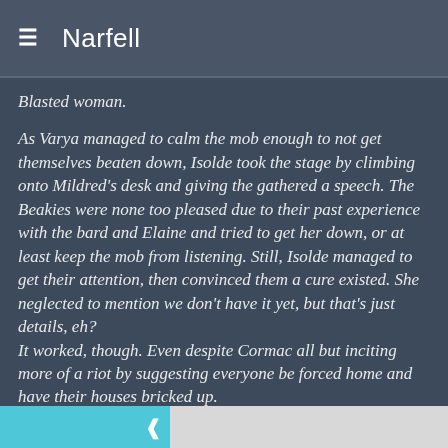Narfell
Blasted woman.
As Varya managed to calm the mob enough to not get themselves beaten down, Isolde took the stage by climbing onto Mildred's desk and giving the gathered a speech. The Beakies were none too pleased due to their past experience with the bard and Elaine and tried to get her down, or at least keep the mob from listening. Still, Isolde managed to get their attention, then convinced them a cure existed. She neglected to mention we don't have it yet, but that's just details, eh?
It worked, though. Even despite Cormac all but inciting more of a riot by suggesting everyone be forced home and have their houses bricked up.
Having their anger defused by Varya, then hearing what they believe is was a promise of a cure seemed to placate them enough to rethink their actions. The damnable rain ruining everyone's day seemed the final nail. They all returned to their